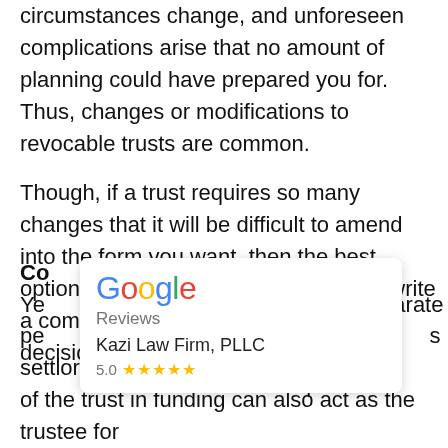circumstances change, and unforeseen complications arise that no amount of planning could have prepared you for. Thus, changes or modifications to revocable trusts are common.

Though, if a trust requires so many changes that it will be difficult to amend into the form you want, then the best option may be to revoke the trust and write a completely new one. This is not a decision that should be taken lightly, as it is an arduous and expensive process...
[Figure (logo): Google Reviews widget showing Kazi Law Firm, PLLC with a 5.0 star rating]
Can you change a revocable trust?

Yes, you can change a revocable trust. A trust has separate people involved — the settlor of the trust in funding can also act as the trustee for